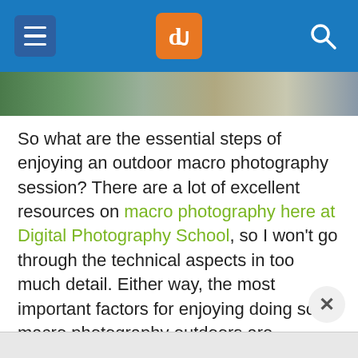dPS navigation header with hamburger menu, logo, and search icon
[Figure (photo): Partial image strip showing an outdoor macro photography scene]
So what are the essential steps of enjoying an outdoor macro photography session? There are a lot of excellent resources on macro photography here at Digital Photography School, so I won't go through the technical aspects in too much detail. Either way, the most important factors for enjoying doing some macro photography outdoors are pleasant weather and an inquisitive mind. So let's begin!